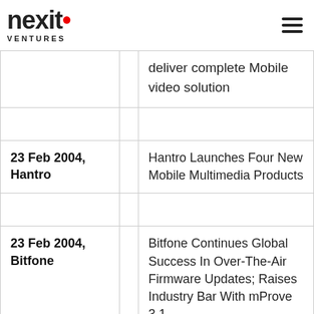nexit VENTURES
|  |  | deliver complete Mobile video solution |
|  |  |  |
| 23 Feb 2004, Hantro |  | Hantro Launches Four New Mobile Multimedia Products |
|  |  |  |
| 23 Feb 2004, Bitfone |  | Bitfone Continues Global Success In Over-The-Air Firmware Updates; Raises Industry Bar With mProve 3.1 |